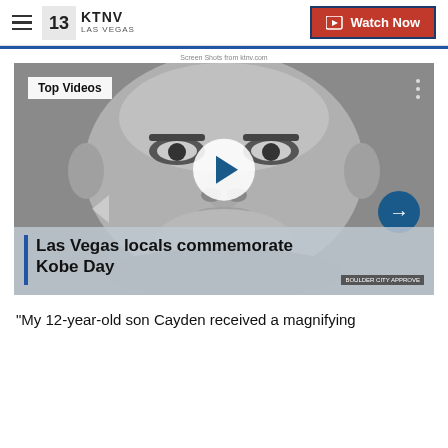KTNV LAS VEGAS — Watch Now
Screen Shots from ktnv.com
[Figure (screenshot): Video thumbnail showing a grayscale mural of Kobe Bryant's face with a play button overlay, 'Top Videos' label in the upper left, a forward arrow button on the right, and a caption bar at the bottom reading 'Las Vegas locals commemorate Kobe Day']
"My 12-year-old son Cayden received a magnifying